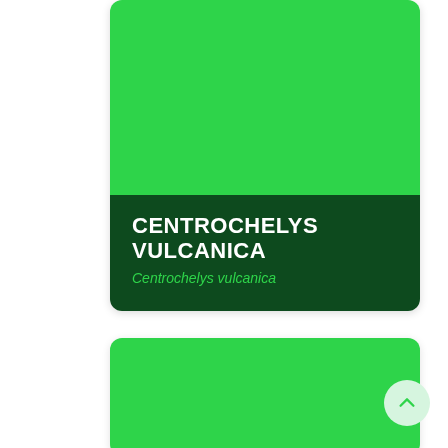[Figure (illustration): Top species card with bright green upper area and dark green lower label area showing species name CENTROCHELYS VULCANICA in white bold uppercase and italic latin name Centrochelys vulcanica in green]
CENTROCHELYS VULCANICA
Centrochelys vulcanica
[Figure (illustration): Bottom species card with bright green background, partially visible, rounded corners]